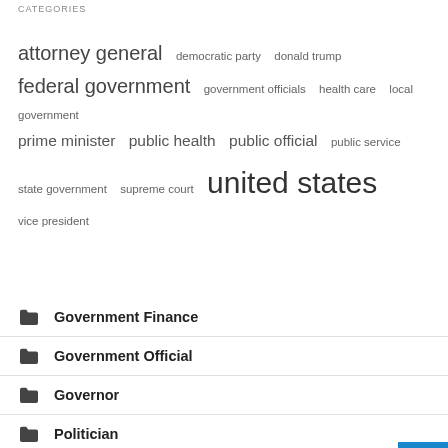CATEGORIES
attorney general  democratic party  donald trump  federal government  government officials  health care  local government  prime minister  public health  public official  public service  state government  supreme court  united states  vice president
Government Finance
Government Official
Governor
Politician
Public Official